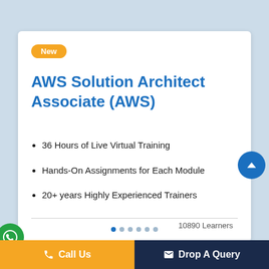New
AWS Solution Architect Associate (AWS)
36 Hours of Live Virtual Training
Hands-On Assignments for Each Module
20+ years Highly Experienced Trainers
10890 Learners
Call Us   Drop A Query